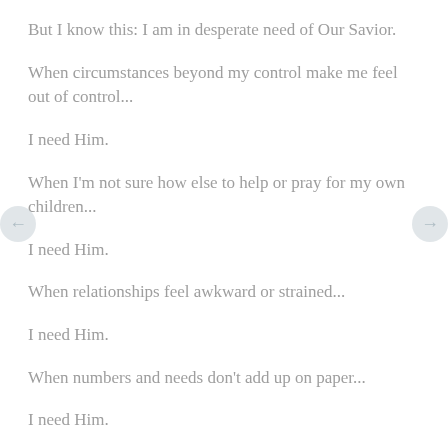But I know this: I am in desperate need of Our Savior.
When circumstances beyond my control make me feel out of control...
I need Him.
When I'm not sure how else to help or pray for my own children...
I need Him.
When relationships feel awkward or strained...
I need Him.
When numbers and needs don't add up on paper...
I need Him.